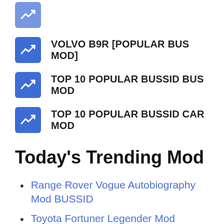VOLVO B9R [POPULAR BUS MOD]
TOP 10 POPULAR BUSSID BUS MOD
TOP 10 POPULAR BUSSID CAR MOD
Today's Trending Mod
Range Rover Vogue Autobiography Mod BUSSID
Toyota Fortuner Legender Mod BUSSID
Honda Civic SI Coupe Mod BUSSID